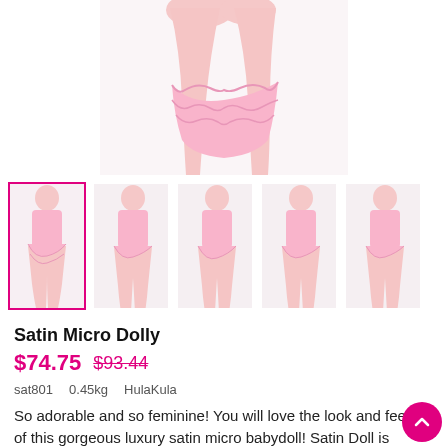[Figure (photo): Hero product photo showing model from waist down wearing pink satin micro babydoll set with ruffled bottoms, white background]
[Figure (photo): Thumbnail 1 (selected, pink border): full-body model in pink satin micro babydoll top and ruffled bottoms, front view]
[Figure (photo): Thumbnail 2: full-body model in pink satin micro babydoll top and ruffled bottoms, slight turn]
[Figure (photo): Thumbnail 3: full-body model in pink satin micro babydoll top and ruffled bottoms, front]
[Figure (photo): Thumbnail 4: full-body model in pink satin micro babydoll top and ruffled bottoms, 3/4 view]
[Figure (photo): Thumbnail 5: full-body model in pink satin micro babydoll top and ruffled bottoms, side view]
Satin Micro Dolly
$74.75  $93.44
sat801  0.45kg  HulaKula
So adorable and so feminine! You will love the look and feel of this gorgeous luxury satin micro babydoll! Satin Doll is made from high-quality, shiny crepe satin, with wide lace shoulder straps with cutesy fixed bows. The same design as our Satin Dolly, but 20